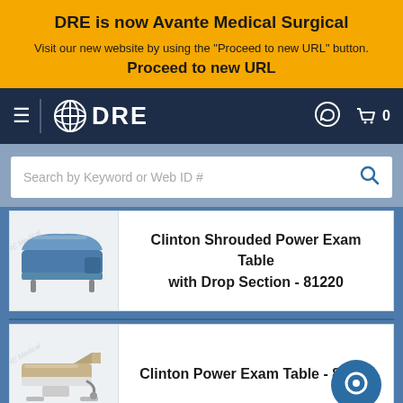DRE is now Avante Medical Surgical
Visit our new website by using the "Proceed to new URL" button.
Proceed to new URL
[Figure (screenshot): DRE navigation bar with hamburger menu, DRE globe logo, search/cart icons]
Search by Keyword or Web ID #
Clinton Shrouded Power Exam Table with Drop Section - 81220
[Figure (photo): Clinton Shrouded Power Exam Table with Drop Section, model 81220, blue upholstery]
Clinton Power Exam Table - 81360
[Figure (photo): Clinton Power Exam Table model 81360, tan/beige upholstery]